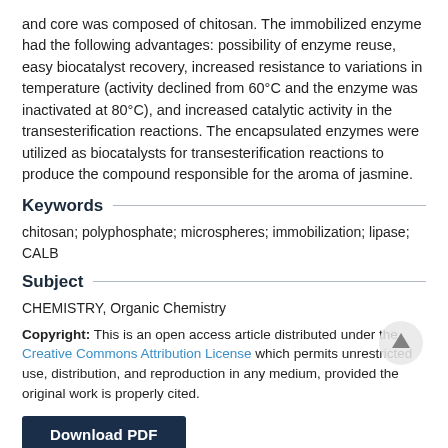and core was composed of chitosan. The immobilized enzyme had the following advantages: possibility of enzyme reuse, easy biocatalyst recovery, increased resistance to variations in temperature (activity declined from 60°C and the enzyme was inactivated at 80°C), and increased catalytic activity in the transesterification reactions. The encapsulated enzymes were utilized as biocatalysts for transesterification reactions to produce the compound responsible for the aroma of jasmine.
Keywords
chitosan; polyphosphate; microspheres; immobilization; lipase; CALB
Subject
CHEMISTRY, Organic Chemistry
Copyright: This is an open access article distributed under the Creative Commons Attribution License which permits unrestricted use, distribution, and reproduction in any medium, provided the original work is properly cited.